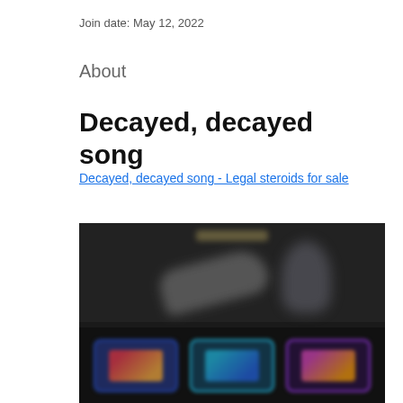Join date: May 12, 2022
About
Decayed, decayed song
Decayed, decayed song - Legal steroids for sale
[Figure (photo): Blurred dark image showing what appears to be a music-related scene with a guitar silhouette and a figure on the top half, and three colorful cards/thumbnails on the bottom half against a dark background.]